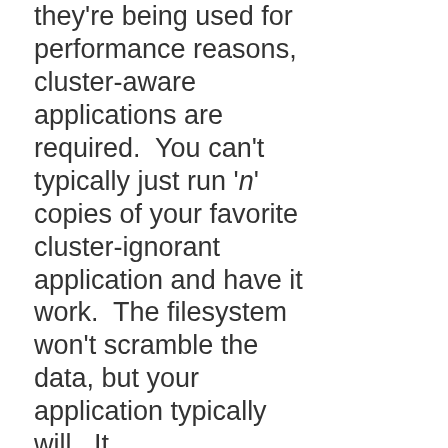they're being used for performance reasons, cluster-aware applications are required.  You can't typically just run 'n' copies of your favorite cluster-ignorant application and have it work.  The filesystem won't scramble the data, but your application typically will.  It